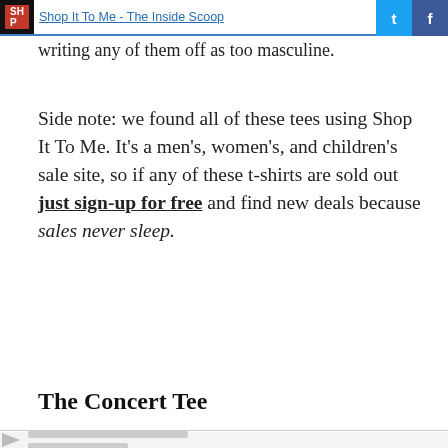Shop It To Me - The Inside Scoop
writing any of them off as too masculine.
Side note: we found all of these tees using Shop It To Me. It's a men's, women's, and children's sale site, so if any of these t-shirts are sold out just sign-up for free and find new deals because sales never sleep.
The Concert Tee